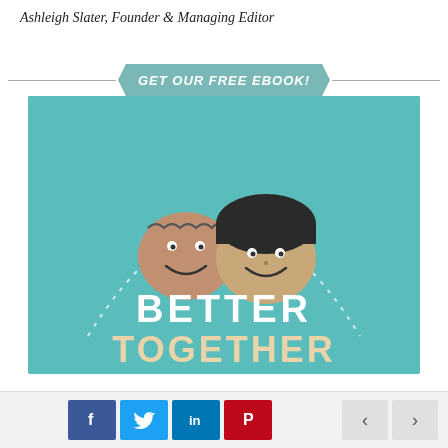Ashleigh Slater, Founder & Managing Editor
GET OUR FREE EBOOK!
[Figure (illustration): Book cover image on teal background showing two stone faces with drawn-on expressions, a white dotted arch above them, and the text 'BETTER TOGETHER' in white and cream letters]
[Figure (infographic): Social sharing bar with Facebook, Twitter, LinkedIn, and Pinterest buttons, plus previous/next navigation arrows]